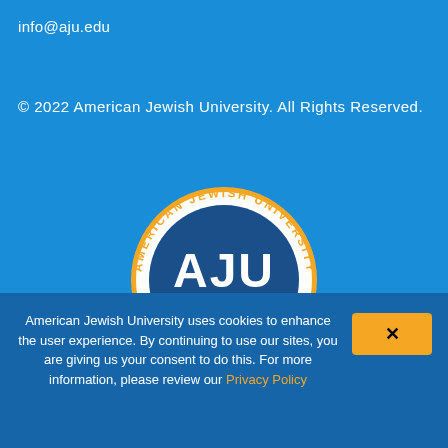info@aju.edu
© 2022 American Jewish University. All Rights Reserved.
[Figure (logo): American Jewish University circular seal logo with gold ring border, dark blue background, white 'AJU' lettering, '1947' in gold, and text 'AMERICAN JEWISH UNIVERSITY' around the ring and 'LEADERSHIP · IDENTITY · INNOVATION' at bottom]
American Jewish University uses cookies to enhance the user experience. By continuing to use our sites, you are giving us your consent to do this. For more information, please review our Privacy Policy